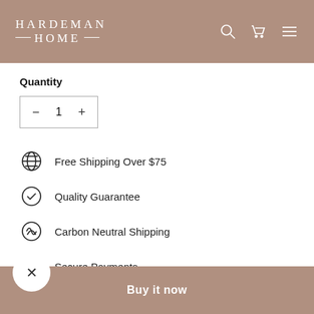HARDEMAN HOME
Quantity
- 1 +
Free Shipping Over $75
Quality Guarantee
Carbon Neutral Shipping
Secure Payments
Add to cart
Buy it now